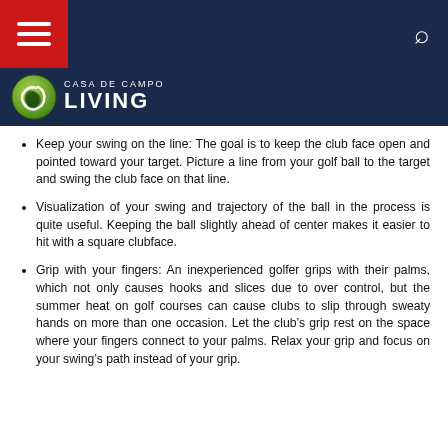Casa de Campo Living — navigation bar with hamburger menu and search icon
Keep your swing on the line: The goal is to keep the club face open and pointed toward your target. Picture a line from your golf ball to the target and swing the club face on that line.
Visualization of your swing and trajectory of the ball in the process is quite useful. Keeping the ball slightly ahead of center makes it easier to hit with a square clubface.
Grip with your fingers: An inexperienced golfer grips with their palms, which not only causes hooks and slices due to over control, but the summer heat on golf courses can cause clubs to slip through sweaty hands on more than one occasion. Let the club’s grip rest on the space where your fingers connect to your palms. Relax your grip and focus on your swing’s path instead of your grip.